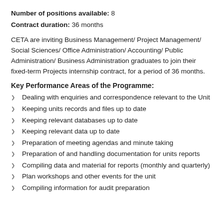Number of positions available: 8
Contract duration: 36 months
CETA are inviting Business Management/ Project Management/ Social Sciences/ Office Administration/ Accounting/ Public Administration/ Business Administration graduates to join their fixed-term Projects internship contract, for a period of 36 months.
Key Performance Areas of the Programme:
Dealing with enquiries and correspondence relevant to the Unit
Keeping units records and files up to date
Keeping relevant databases up to date
Keeping relevant data up to date
Preparation of meeting agendas and minute taking
Preparation of and handling documentation for units reports
Compiling data and material for reports (monthly and quarterly)
Plan workshops and other events for the unit
Compiling information for audit preparation